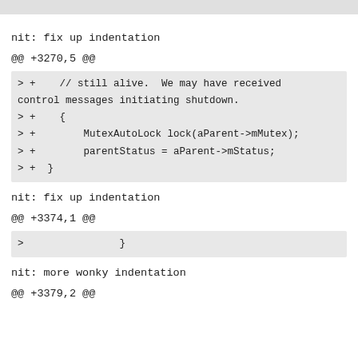nit: fix up indentation
@@ +3270,5 @@
> +    // still alive.  We may have received control messages initiating shutdown.
> +    {
> +        MutexAutoLock lock(aParent->mMutex);
> +        parentStatus = aParent->mStatus;
> +  }
nit: fix up indentation
@@ +3374,1 @@
>                }
nit: more wonky indentation
@@ +3379,2 @@